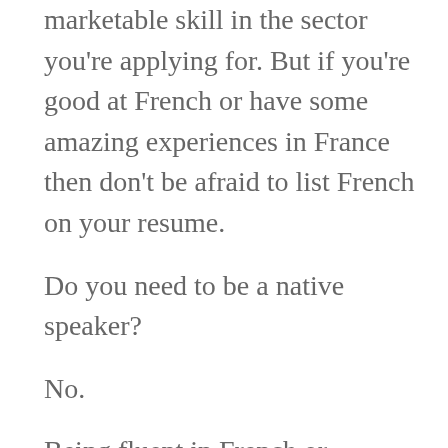marketable skill in the sector you're applying for. But if you're good at French or have some amazing experiences in France then don't be afraid to list French on your resume.
Do you need to be a native speaker?
No.
Being fluent in French or knowing multiple languages marks you as a diverse candidate with a high ability to problem solve. Fluency in languages exhibits intelligence and drive as well. If everyone was fluent in French then this website